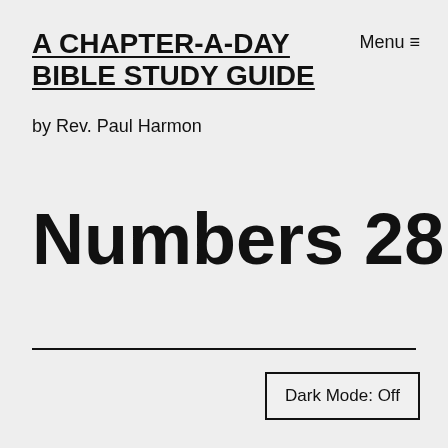A CHAPTER-A-DAY BIBLE STUDY GUIDE
Menu ≡
by Rev. Paul Harmon
Numbers 28
Dark Mode: Off